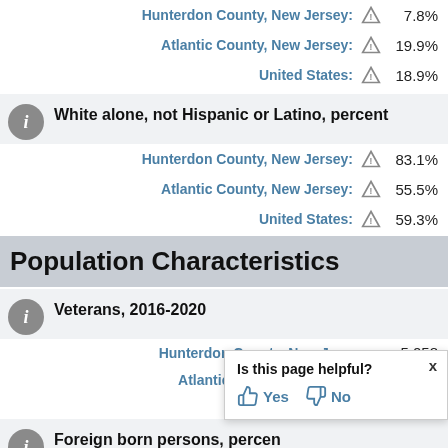Hunterdon County, New Jersey: 7.8%
Atlantic County, New Jersey: 19.9%
United States: 18.9%
White alone, not Hispanic or Latino, percent
Hunterdon County, New Jersey: 83.1%
Atlantic County, New Jersey: 55.5%
United States: 59.3%
Population Characteristics
Veterans, 2016-2020
Hunterdon County, New Jersey: 5,058
Atlantic County, New Jersey: 11,470
United States:
Foreign born persons, percent
Is this page helpful? Yes No